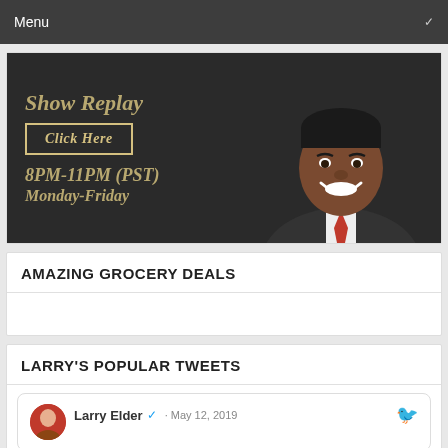Menu
[Figure (photo): Show Replay promotional banner with text 'SHOW REPLAY', 'Click Here' button, '8PM-11PM (PST)', 'Monday-Friday', and a photo of Larry Elder smiling]
AMAZING GROCERY DEALS
LARRY'S POPULAR TWEETS
Larry Elder · May 12, 2019